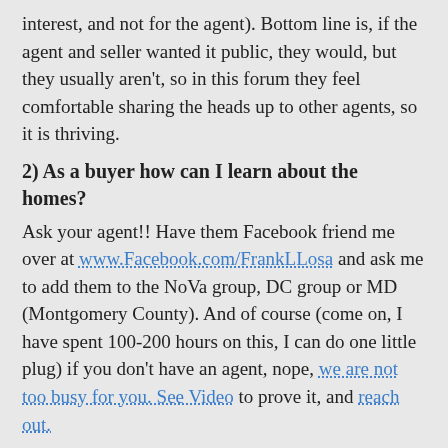interest, and not for the agent). Bottom line is, if the agent and seller wanted it public, they would, but they usually aren't, so in this forum they feel comfortable sharing the heads up to other agents, so it is thriving.
2) As a buyer how can I learn about the homes?
Ask your agent!! Have them Facebook friend me over at www.Facebook.com/FrankLLosa and ask me to add them to the NoVa group, DC group or MD (Montgomery County). And of course (come on, I have spent 100-200 hours on this, I can do one little plug) if you don't have an agent, nope, we are not too busy for you. See Video to prove it, and reach out.
3) As a seller how can I make sure my home is added?
Ask your agent to put you on there!! I also recommend